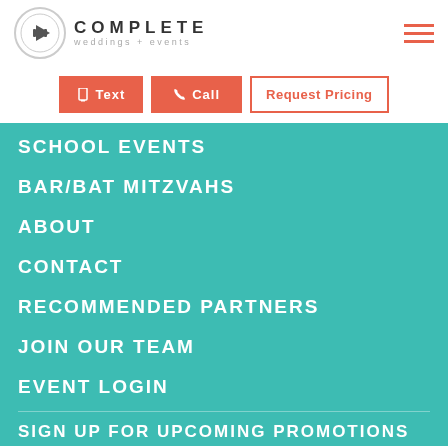[Figure (logo): Complete Weddings + Events logo with circular C icon and company name]
Text
Call
Request Pricing
SCHOOL EVENTS
BAR/BAT MITZVAHS
ABOUT
CONTACT
RECOMMENDED PARTNERS
JOIN OUR TEAM
EVENT LOGIN
SIGN UP FOR UPCOMING PROMOTIONS